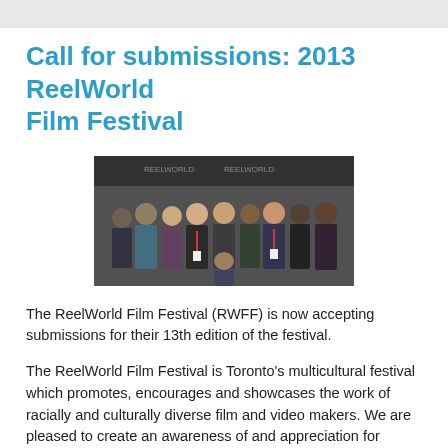Call for submissions: 2013 ReelWorld Film Festival
[Figure (photo): Group photo of diverse people at the ReelWorld Film Festival, posing together in front of festival signage/backdrop in formal attire]
The ReelWorld Film Festival (RWFF) is now accepting submissions for their 13th edition of the festival.
The ReelWorld Film Festival is Toronto's multicultural festival which promotes, encourages and showcases the work of racially and culturally diverse film and video makers. We are pleased to create an awareness of and appreciation for diverse stories. They accept Canadian and International submissions that reflect culturally and racially diverse content and features racially diverse people either in front of